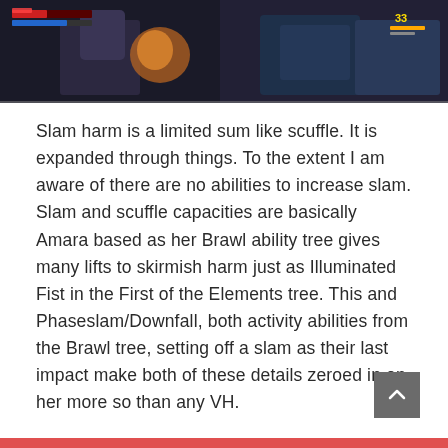[Figure (screenshot): Screenshot from a video game (appears to be Borderlands 3) showing a character in a stylized comic-book art style environment with HUD elements including health bar and ammo count]
Slam harm is a limited sum like scuffle. It is expanded through things. To the extent I am aware of there are no abilities to increase slam. Slam and scuffle capacities are basically Amara based as her Brawl ability tree gives many lifts to skirmish harm just as Illuminated Fist in the First of the Elements tree. This and Phaseslam/Downfall, both activity abilities from the Brawl tree, setting off a slam as their last impact make both of these details zeroed in on her more so than any VH.